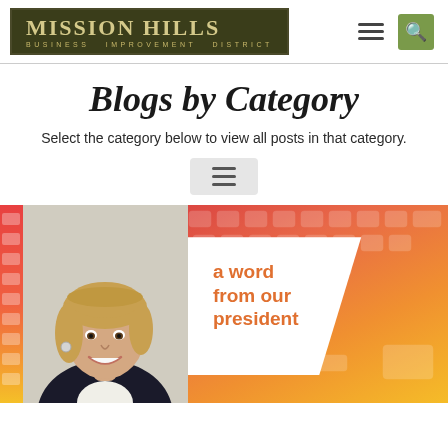Mission Hills Business Improvement District — navigation header with logo, hamburger menu, search button
Blogs by Category
Select the category below to view all posts in that category.
[Figure (screenshot): Category menu toggle button (hamburger icon in a light gray box)]
[Figure (photo): Blog card image: photo of a blonde woman in a blazer on the left with a colorful keyboard-background graphic on the right showing text 'a word from our president' in orange]